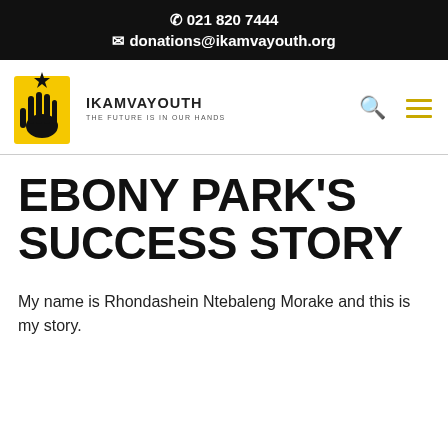📞 021 820 7444
✉ donations@ikamvayouth.org
[Figure (logo): IkamvaYouth logo: yellow rectangle with black hand silhouette and star, with text IKAMVAYOUTH and tagline THE FUTURE IS IN OUR HANDS]
EBONY PARK'S SUCCESS STORY
My name is Rhondashein Ntebaleng Morake and this is my story.